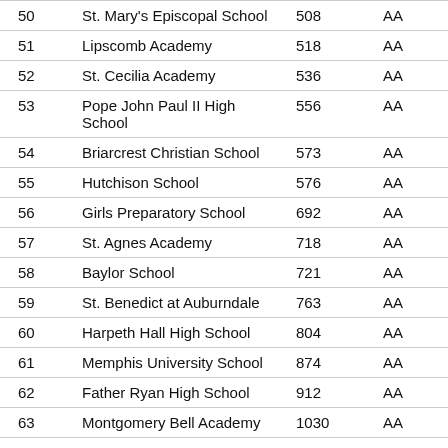| # | School | Enrollment | Class |
| --- | --- | --- | --- |
| 50 | St. Mary's Episcopal School | 508 | AA |
| 51 | Lipscomb Academy | 518 | AA |
| 52 | St. Cecilia Academy | 536 | AA |
| 53 | Pope John Paul II High School | 556 | AA |
| 54 | Briarcrest Christian School | 573 | AA |
| 55 | Hutchison School | 576 | AA |
| 56 | Girls Preparatory School | 692 | AA |
| 57 | St. Agnes Academy | 718 | AA |
| 58 | Baylor School | 721 | AA |
| 59 | St. Benedict at Auburndale | 763 | AA |
| 60 | Harpeth Hall High School | 804 | AA |
| 61 | Memphis University School | 874 | AA |
| 62 | Father Ryan High School | 912 | AA |
| 63 | Montgomery Bell Academy | 1030 | AA |